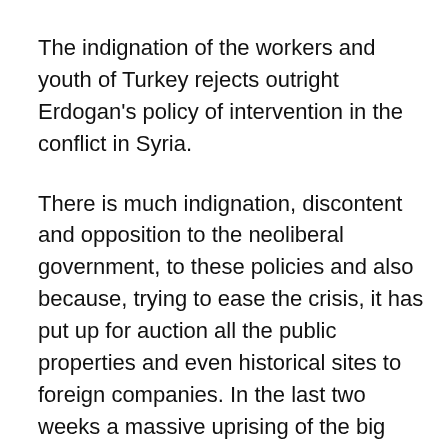The indignation of the workers and youth of Turkey rejects outright Erdogan's policy of intervention in the conflict in Syria.
There is much indignation, discontent and opposition to the neoliberal government, to these policies and also because, trying to ease the crisis, it has put up for auction all the public properties and even historical sites to foreign companies. In the last two weeks a massive uprising of the big popular sectors broke out, when Erdogan proposed carrying out a giant architectural project of concrete and iron in Gezi Park of the traditional Taksin Square in the heart of Istanbul, to be allocated to the large multinational corporations, banks and shops of the great powers, sacrificing the public space, destroying the ecology and depriving the people of a place of rest and